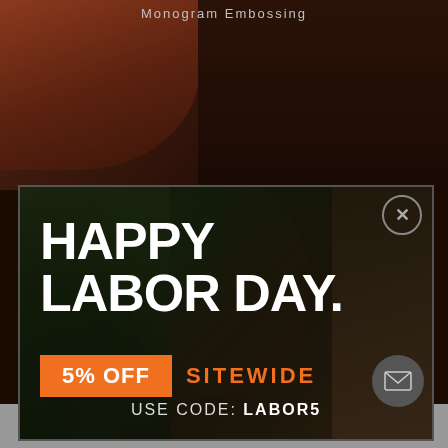Monogram Embossing
[Figure (screenshot): Labor Day promotional popup modal overlay on a website. Dark background with a bearded man sitting in a leather chair. Bold white text reads HAPPY LABOR DAY. An orange banner reads 5% OFF with orange text SITEWIDE. Below: USE CODE: LABOR5. Close button top right, mail icon bottom right.]
USE CODE: LABOR5
0
SHARES